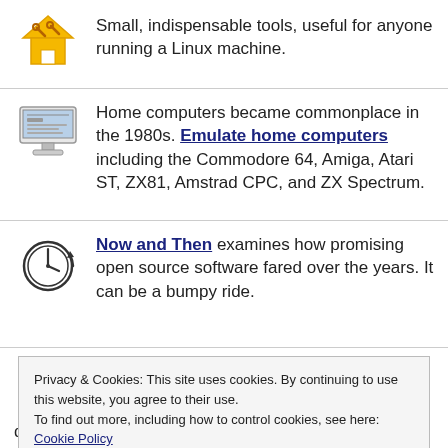Small, indispensable tools, useful for anyone running a Linux machine.
Home computers became commonplace in the 1980s. Emulate home computers including the Commodore 64, Amiga, Atari ST, ZX81, Amstrad CPC, and ZX Spectrum.
Now and Then examines how promising open source software fared over the years. It can be a bumpy ride.
Linux at Home looks at a range of home activities where Linux can play its part. daily drudgery.
Privacy & Cookies: This site uses cookies. By continuing to use this website, you agree to their use.
To find out more, including how to control cookies, see here: Cookie Policy
Close and accept